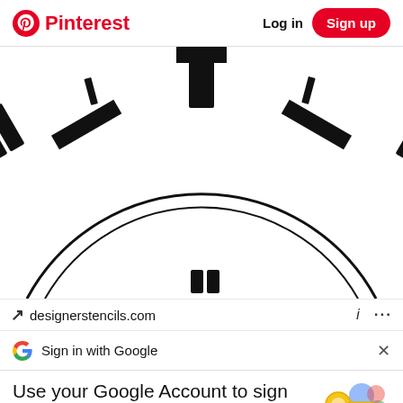Pinterest  Log in  Sign up
[Figure (photo): Close-up of a clock face showing Roman numerals and hour markers in black and white, partial view of the lower half of the clock face with an arc border]
↗ designerstencils.com  i  ...
Sign in with Google  ×
Use your Google Account to sign in to Pinterest
No more passwords to remember. Signing in is fast, simple and secure.